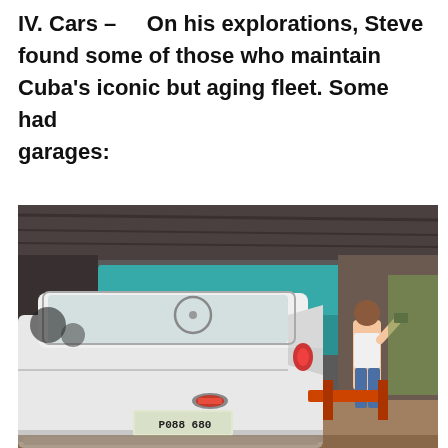IV. Cars – On his explorations, Steve found some of those who maintain Cuba's iconic but aging fleet. Some had garages:
[Figure (photo): A classic 1950s American car (white and teal convertible, license plate P088 680) parked inside a covered garage. A person stands to the right of the car. The garage has a metal roof and rustic surroundings.]